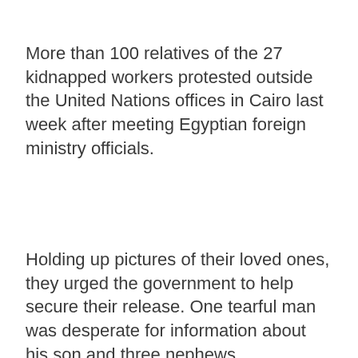More than 100 relatives of the 27 kidnapped workers protested outside the United Nations offices in Cairo last week after meeting Egyptian foreign ministry officials.
Holding up pictures of their loved ones, they urged the government to help secure their release. One tearful man was desperate for information about his son and three nephews.
ADVERTISEMENT
[Figure (other): Advertisement placeholder box (gray rectangle)]